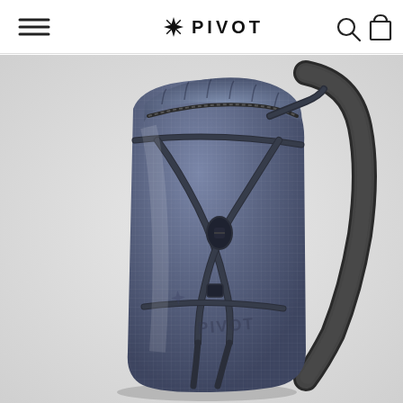PIVOT — navigation header with menu, logo, search and cart icons
[Figure (photo): A blue/slate ripstop nylon backpack with dark compression straps in an X-pattern on the front, a roll-top style closure at the top, and a padded shoulder strap visible on the right side. The bag bears a subtle PIVOT brand logo watermark. Photographed against a white/light grey background.]